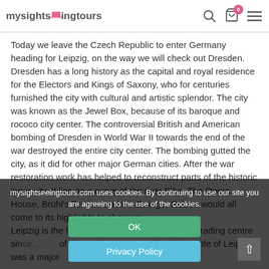mysightseeeingtours [logo with search, cart (0), menu]
Today we leave the Czech Republic to enter Germany heading for Leipzig, on the way we will check out Dresden.
Dresden has a long history as the capital and royal residence for the Electors and Kings of Saxony, who for centuries furnished the city with cultural and artistic splendor. The city was known as the Jewel Box, because of its baroque and rococo city center. The controversial British and American bombing of Dresden in World War II towards the end of the war destroyed the entire city center. The bombing gutted the city, as it did for other major German cities. After the war restoration work has helped to reconstruct parts of the historic inner city. It lies on a curve of the river Elbe. The Opera House, Brühl's Terrace and the Zwinger Palace would all come to its highlights to show you.
Leipzig is the largest... has been a trading centre since... of the Holy Roman Empire. The Battle of Leipzig was a major
mysightseeingtours.com uses cookies. By continuing to use our site you are agreeing to the use of the cookies.
OK
Privacy Policy